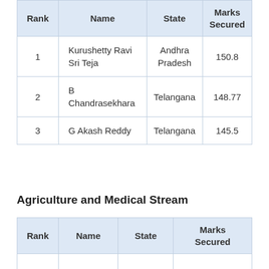| Rank | Name | State | Marks Secured |
| --- | --- | --- | --- |
| 1 | Kurushetty Ravi Sri Teja | Andhra Pradesh | 150.8 |
| 2 | B Chandrasekhara | Telangana | 148.77 |
| 3 | G Akash Reddy | Telangana | 145.5 |
Agriculture and Medical Stream
| Rank | Name | State | Marks Secured |
| --- | --- | --- | --- |